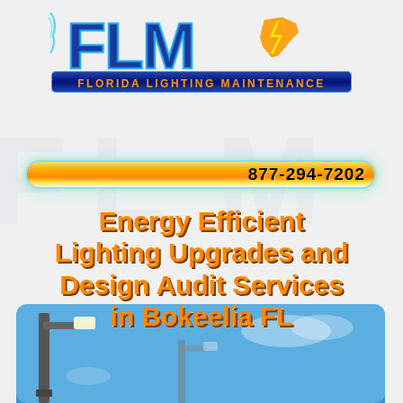[Figure (logo): FLM Florida Lighting Maintenance logo with blue banner, orange Florida map silhouette, and lightning bolt decorations]
[Figure (infographic): Glowing fluorescent tube bar showing phone number 877-294-7202 with cyan glow effect]
Energy Efficient Lighting Upgrades and Design Audit Services in Bokeelia FL
[Figure (photo): Photo of a street light pole against a blue sky background]